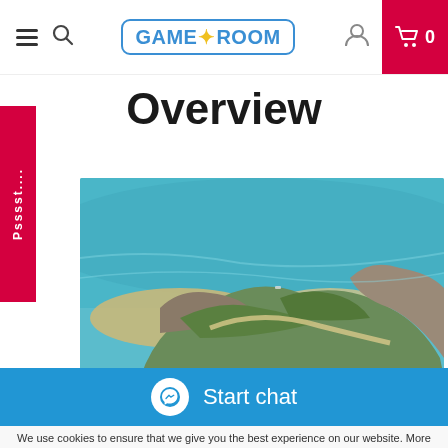GameRoom navigation bar with hamburger menu, search, GameRoom logo, user icon, and cart (0)
Overview
[Figure (photo): Aerial view of a tropical island with turquoise water, sandy beaches, rocky cliffs and green vegetation — likely a game world screenshot]
Psssst....
[Figure (infographic): Start chat button bar with Facebook Messenger icon on blue background]
We use cookies to ensure that we give you the best experience on our website. More information on our privacy policy page.
OK